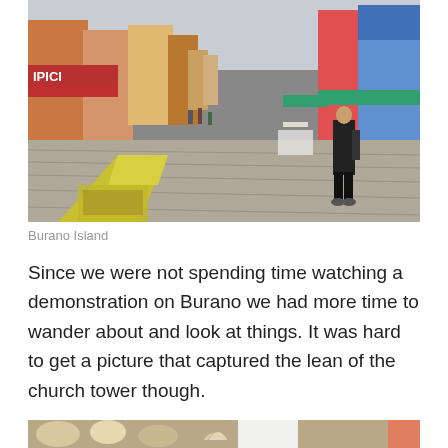[Figure (photo): Street scene on Burano Island, Italy. Colorful buildings line a pedestrian street. Shops with awnings on both sides. A man in a black jacket walks on the right side. Yellow display cases in the foreground on the left. Cloudy sky overhead.]
Burano Island
Since we were not spending time watching a demonstration on Burano we had more time to wander about and look at things. It was hard to get a picture that captured the lean of the church tower though.
[Figure (photo): Partial view of items at the bottom of the page, appears to be shells or decorative objects in a market stall.]